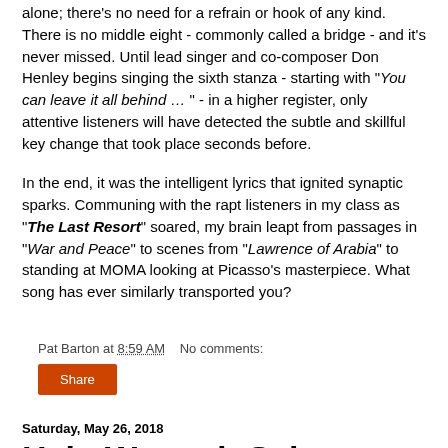alone; there's no need for a refrain or hook of any kind. There is no middle eight - commonly called a bridge - and it's never missed. Until lead singer and co-composer Don Henley begins singing the sixth stanza - starting with "You can leave it all behind … " - in a higher register, only attentive listeners will have detected the subtle and skillful key change that took place seconds before.
In the end, it was the intelligent lyrics that ignited synaptic sparks. Communing with the rapt listeners in my class as "The Last Resort" soared, my brain leapt from passages in "War and Peace" to scenes from "Lawrence of Arabia" to standing at MOMA looking at Picasso's masterpiece. What song has ever similarly transported you?
Pat Barton at 8:59 AM   No comments:
Share
Saturday, May 26, 2018
Help Wanted: Saint Patrick's